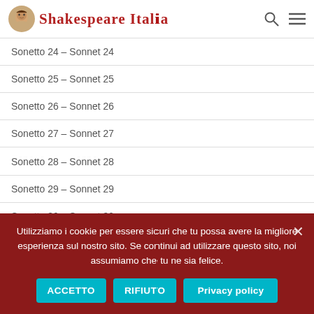Shakespeare Italia
Sonetto 24 – Sonnet 24
Sonetto 25 – Sonnet 25
Sonetto 26 – Sonnet 26
Sonetto 27 – Sonnet 27
Sonetto 28 – Sonnet 28
Sonetto 29 – Sonnet 29
Sonetto 30 – Sonnet 30
Sonetto 31 – Sonnet 31
Sonetto 32 – Sonnet 32
Sonetto 33 – Sonnet 33
Sonetto 34 – Sonnet 34
Utilizziamo i cookie per essere sicuri che tu possa avere la migliore esperienza sul nostro sito. Se continui ad utilizzare questo sito, noi assumiamo che tu ne sia felice.
ACCETTO | RIFIUTO | Privacy policy